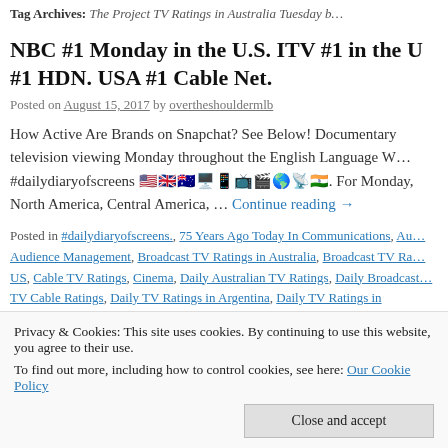Tag Archives: The Project TV Ratings in Australia Tuesday b…
NBC #1 Monday in the U.S. ITV #1 in the U… #1 HDN. USA #1 Cable Net.
Posted on August 15, 2017 by overtheshouldermlb
How Active Are Brands on Snapchat? See Below! Documentary television viewing Monday throughout the English Language W… #dailydiaryofscreens 🇺🇸🇬🇧🇦🇺💻📱📺🎬🌎📡🇮🇳. For Monday. North America, Central America, … Continue reading →
Posted in #dailydiaryofscreens., 75 Years Ago Today In Communications, Au… Audience Management, Broadcast TV Ratings in Australia, Broadcast TV Ra… US, Cable TV Ratings, Cinema, Daily Australian TV Ratings, Daily Broadcast… TV Cable Ratings, Daily TV Ratings in Argentina, Daily TV Ratings in Colomb… Ratings in Peru, Daily UK TV Ratings, Data, Digital, Direct, Hispanic TV Ratin…
Privacy & Cookies: This site uses cookies. By continuing to use this website, you agree to their use. To find out more, including how to control cookies, see here: Our Cookie Policy
Close and accept